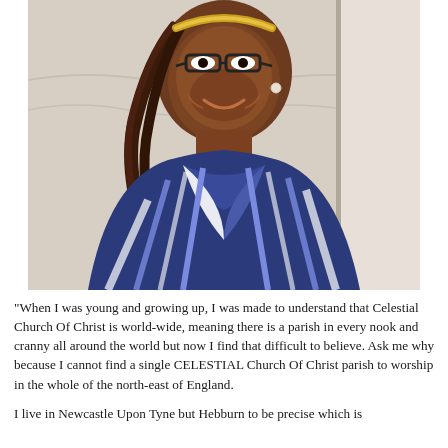[Figure (photo): Portrait photo of a smiling woman wearing glasses, braided hair with a gold headband, and a blue and white striped shirt, standing against a light background.]
“When I was young and growing up, I was made to understand that Celestial Church Of Christ is world-wide, meaning there is a parish in every nook and cranny all around the world but now I find that difficult to believe. Ask me why because I cannot find a single CELESTIAL Church Of Christ parish to worship in the whole of the north-east of England.
I live in Newcastle Upon Tyne but Hebburn to be precise which is